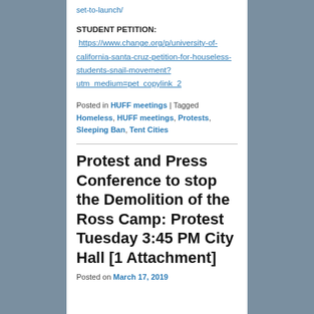set-to-launch/
STUDENT PETITION:  https://www.change.org/p/university-of-california-santa-cruz-petition-for-houseless-students-snail-movement?utm_medium=pet_copylink_2
Posted in HUFF meetings | Tagged Homeless, HUFF meetings, Protests, Sleeping Ban, Tent Cities
Protest and Press Conference to stop the Demolition of the Ross Camp: Protest Tuesday 3:45 PM City Hall [1 Attachment]
Posted on March 17, 2019